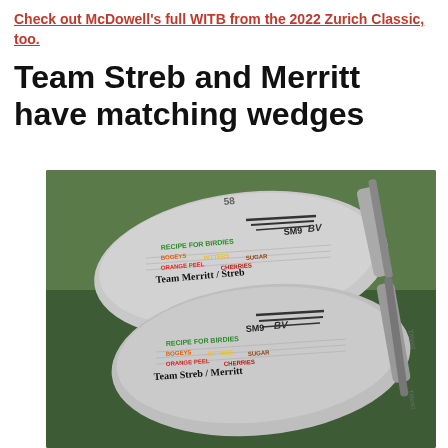Check out McDowell's full WITB from the 2022 Zurich Classic, too.
Team Streb and Merritt have matching wedges
[Figure (photo): Two Titleist Vokey SM9 BV wedges side by side against a green grass background. The top wedge reads 'TEAM MERRITT / STREB' and the bottom reads 'TEAM STREB / MERRITT', both with colorful script including 'RECIPE FOR BIRDIES', 'BOGEYS', 'BITTERS', 'SUGAR', 'CHERRY', 'CHERRIES' text on the face.]